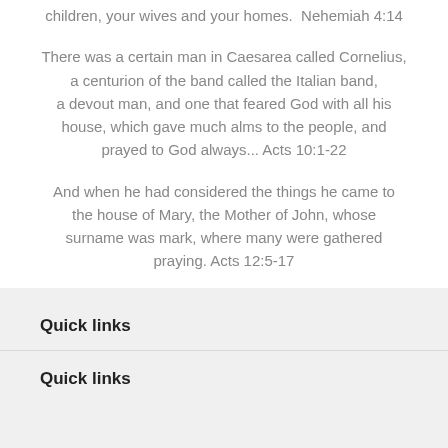children, your wives and your homes.  Nehemiah 4:14
There was a certain man in Caesarea called Cornelius, a centurion of the band called the Italian band, a devout man, and one that feared God with all his house, which gave much alms to the people, and prayed to God always... Acts 10:1-22
And when he had considered the things he came to the house of Mary, the Mother of John, whose surname was mark, where many were gathered praying. Acts 12:5-17
Quick links
Quick links